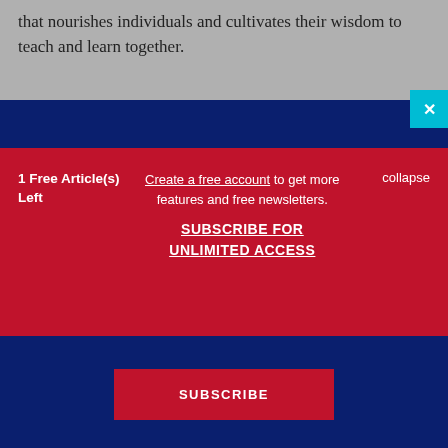that nourishes individuals and cultivates their wisdom to teach and learn together.
1 Free Article(s) Left
Create a free account to get more features and free newsletters.
SUBSCRIBE FOR UNLIMITED ACCESS
collapse
Subscribe today for unlimited access to best practices, insights, and solutions.
SUBSCRIBE